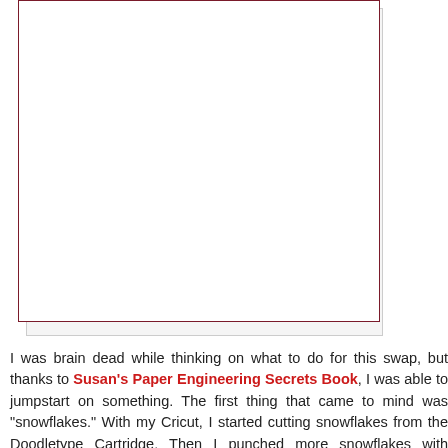[Figure (illustration): A framed rectangular area with a dark red/maroon outer border and a light gray inner border on a light gray background, appearing to be a placeholder for a card or craft project image.]
I was brain dead while thinking on what to do for this swap, but thanks to Susan's Paper Engineering Secrets Book, I was able to jumpstart on something. The first thing that came to mind was "snowflakes." With my Cricut, I started cutting snowflakes from the Doodletype Cartridge. Then I punched more snowflakes with Emagination Crafts punches. I stacked all